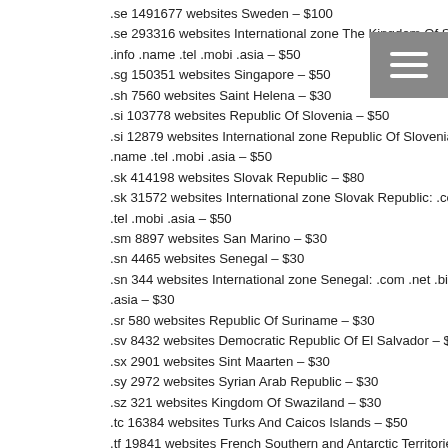.se 1491677 websites Sweden – $100
.se 293316 websites International zone The Kingdom Of Sweden: .com .net .biz .info .name .tel .mobi .asia – $50
.info .name .tel .mobi .asia – $50
.sg 150351 websites Singapore – $50
.sh 7560 websites Saint Helena – $30
.si 103778 websites Republic Of Slovenia – $50
.si 12879 websites International zone Republic Of Slovenia: .com .net .biz .info .name .tel .mobi .asia – $50
.sk 414198 websites Slovak Republic – $80
.sk 31572 websites International zone Slovak Republic: .com .net .biz .info .name .tel .mobi .asia – $50
.sm 8897 websites San Marino – $30
.sn 4465 websites Senegal – $30
.sn 344 websites International zone Senegal: .com .net .biz .info .name .tel .mobi .asia – $30
.sr 580 websites Republic Of Suriname – $30
.sv 8432 websites Democratic Republic Of El Salvador – $30
.sx 2901 websites Sint Maarten – $30
.sy 2972 websites Syrian Arab Republic – $30
.sz 321 websites Kingdom Of Swaziland – $30
.tc 16384 websites Turks And Caicos Islands – $50
.tf 19841 websites French Southern and Antarctic Territories – $50
.tg 1230 websites Togolev Republic – $30